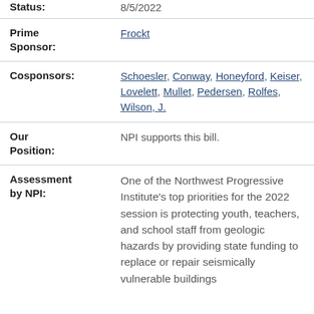| Status: | 8/5/2022 |
| Prime Sponsor: | Frockt |
| Cosponsors: | Schoesler, Conway, Honeyford, Keiser, Lovelett, Mullet, Pedersen, Rolfes, Wilson, J. |
| Our Position: | NPI supports this bill. |
| Assessment by NPI: | One of the Northwest Progressive Institute's top priorities for the 2022 session is protecting youth, teachers, and school staff from geologic hazards by providing state funding to replace or repair seismically vulnerable buildings |